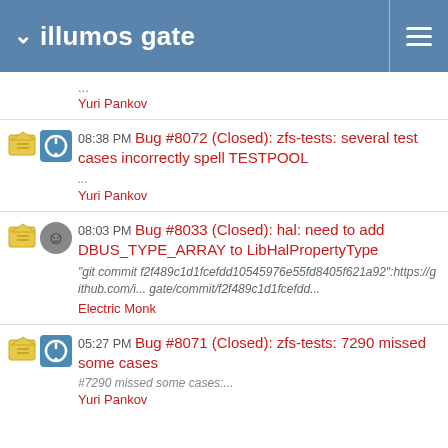illumos gate
08:38 PM Bug #8072 (Closed): zfs-tests: several test cases incorrectly spell TESTPOOL ... Yuri Pankov
08:03 PM Bug #8033 (Closed): hal: need to add DBUS_TYPE_ARRAY to LibHalPropertyType "git commit f2f489c1d1fcefdd10545976e55fd8405f621a92":https://github.com/illumos/illumos-gate/commit/f2f489c1d1fcefdd... Electric Monk
05:27 PM Bug #8071 (Closed): zfs-tests: 7290 missed some cases #7290 missed some cases:... Yuri Pankov